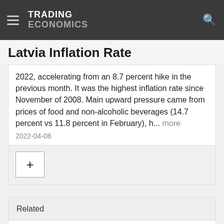TRADING ECONOMICS
Latvia Inflation Rate
2022, accelerating from an 8.7 percent hike in the previous month. It was the highest inflation rate since November of 2008. Main upward pressure came from prices of food and non-alcoholic beverages (14.7 percent vs 11.8 percent in February), h... more
2022-04-08
Related
Latvia Producer Inflation Edges Higher
Latvia GDP Growth Slows in Q2
Latvia Current Account Deficit Widens in May